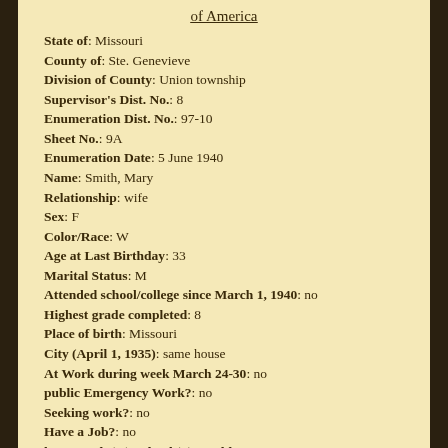of America
State of: Missouri
County of: Ste. Genevieve
Division of County: Union township
Supervisor's Dist. No.: 8
Enumeration Dist. No.: 97-10
Sheet No.: 9A
Enumeration Date: 5 June 1940
Name: Smith, Mary
Relationship: wife
Sex: F
Color/Race: W
Age at Last Birthday: 33
Marital Status: M
Attended school/college since March 1, 1940: no
Highest grade completed: 8
Place of birth: Missouri
City (April 1, 1935): same house
At Work during week March 24-30: no
public Emergency Work?: no
Seeking work?: no
Have a Job?: no
housework (H), school (S), unable to